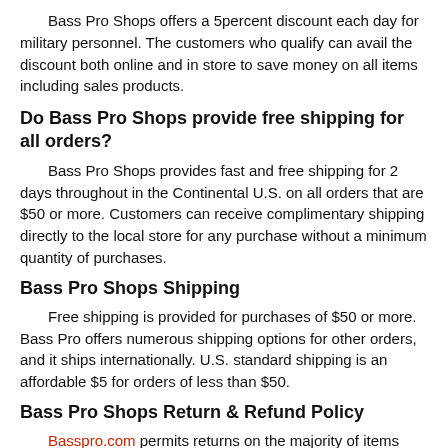Bass Pro Shops offers a 5percent discount each day for military personnel. The customers who qualify can avail the discount both online and in store to save money on all items including sales products.
Do Bass Pro Shops provide free shipping for all orders?
Bass Pro Shops provides fast and free shipping for 2 days throughout in the Continental U.S. on all orders that are $50 or more. Customers can receive complimentary shipping directly to the local store for any purchase without a minimum quantity of purchases.
Bass Pro Shops Shipping
Free shipping is provided for purchases of $50 or more. Bass Pro offers numerous shipping options for other orders, and it ships internationally. U.S. standard shipping is an affordable $5 for orders of less than $50.
Bass Pro Shops Return & Refund Policy
Basspro.com permits returns on the majority of items within